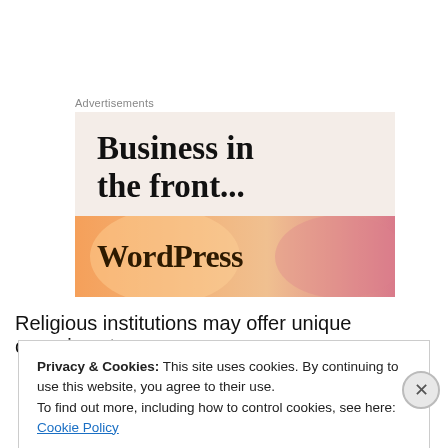Advertisements
[Figure (illustration): WordPress advertisement banner: 'Business in the front...' text on beige background with WordPress logo on orange gradient banner below]
Religious institutions may offer unique occasions to
Privacy & Cookies: This site uses cookies. By continuing to use this website, you agree to their use.
To find out more, including how to control cookies, see here: Cookie Policy
Close and accept